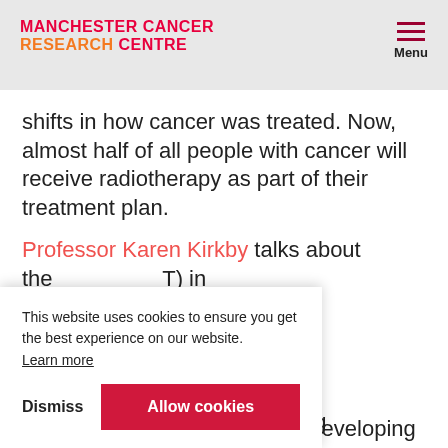MANCHESTER CANCER RESEARCH CENTRE | Menu
shifts in how cancer was treated. Now, almost half of all people with cancer will receive radiotherapy as part of their treatment plan.
Professor Karen Kirkby talks about the [FLASH radiotherapy (FLASH-RT) in ...] form of ... damage ... recovery ... ts. It is a ... nd young adults, whose bodies are still developing
This website uses cookies to ensure you get the best experience on our website. Learn more
Dismiss | Allow cookies
adults, whose bodies are still developing